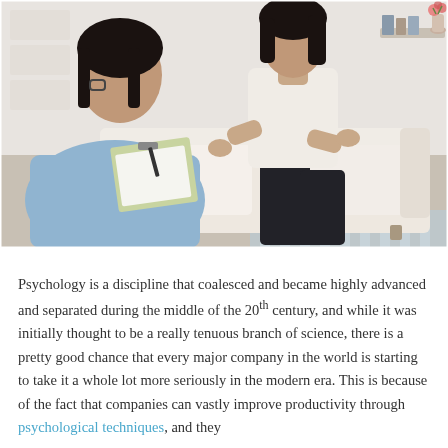[Figure (photo): Two women sitting in a therapy session. One woman (therapist) with glasses and blue shirt sits with back partly to viewer holding a clipboard and pen. The other woman (patient) with dark hair sits on a white sofa facing the therapist, gesturing with her hands. Indoor setting with soft furnishings.]
Psychology is a discipline that coalesced and became highly advanced and separated during the middle of the 20th century, and while it was initially thought to be a really tenuous branch of science, there is a pretty good chance that every major company in the world is starting to take it a whole lot more seriously in the modern era. This is because of the fact that companies can vastly improve productivity through psychological techniques, and they